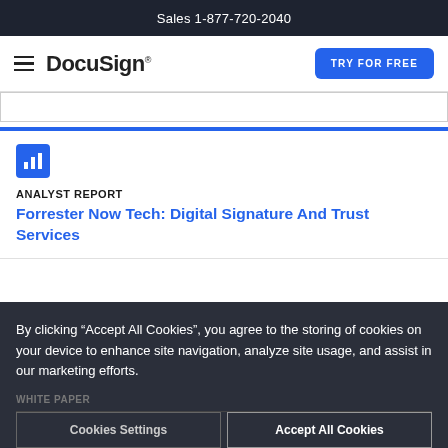Sales 1-877-720-2040
[Figure (logo): DocuSign logo with hamburger menu icon on left and 'TRY FOR FREE' blue button on right]
ANALYST REPORT
Forrester Now Tech: Digital Signature And Trust Services
By clicking “Accept All Cookies”, you agree to the storing of cookies on your device to enhance site navigation, analyze site usage, and assist in our marketing efforts.
WHITE PAPER
Cookies Settings
Accept All Cookies